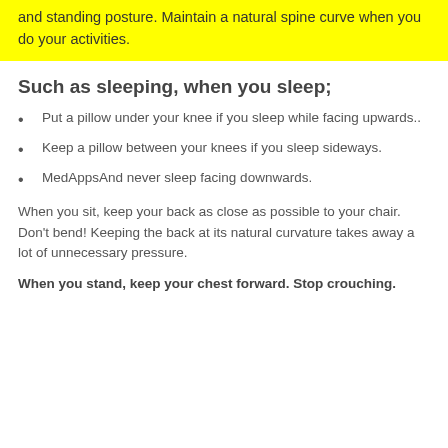and standing posture. Maintain a natural spine curve when you do your activities.
Such as sleeping, when you sleep;
Put a pillow under your knee if you sleep while facing upwards..
Keep a pillow between your knees if you sleep sideways.
MedAppsAnd never sleep facing downwards.
When you sit, keep your back as close as possible to your chair. Don't bend! Keeping the back at its natural curvature takes away a lot of unnecessary pressure.
When you stand, keep your chest forward. Stop crouching.